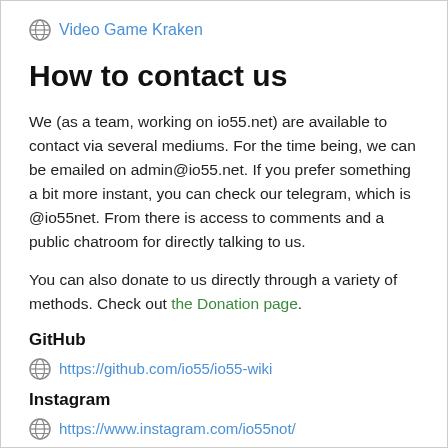Video Game Kraken
How to contact us
We (as a team, working on io55.net) are available to contact via several mediums. For the time being, we can be emailed on admin@io55.net. If you prefer something a bit more instant, you can check our telegram, which is @io55net. From there is access to comments and a public chatroom for directly talking to us.
You can also donate to us directly through a variety of methods. Check out the Donation page.
GitHub
https://github.com/io55/io55-wiki
Instagram
https://www.instagram.com/io55not/